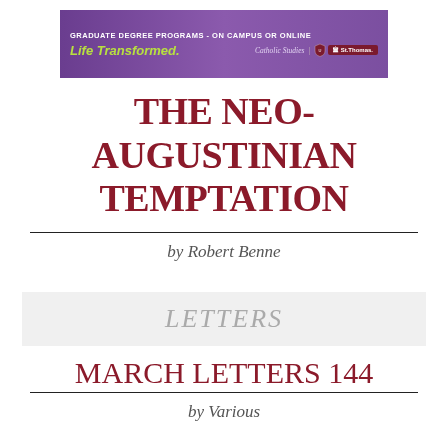[Figure (other): Advertisement banner for University of St. Thomas Graduate Degree Programs - On Campus or Online. Text: 'GRADUATE DEGREE PROGRAMS - ON CAMPUS OR ONLINE', 'Life Transformed.', 'Catholic Studies | St. Thomas.' Purple gradient background.]
THE NEO-AUGUSTINIAN TEMPTATION
by Robert Benne
LETTERS
MARCH LETTERS 144
by Various